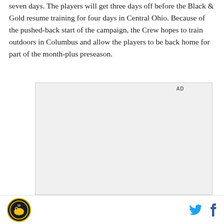seven days. The players will get three days off before the Black & Gold resume training for four days in Central Ohio. Because of the pushed-back start of the campaign, the Crew hopes to train outdoors in Columbus and allow the players to be back home for part of the month-plus preseason.
[Figure (other): Advertisement placeholder box with 'AD' label in top right corner]
Logo icon on left, Twitter and Facebook share icons on right